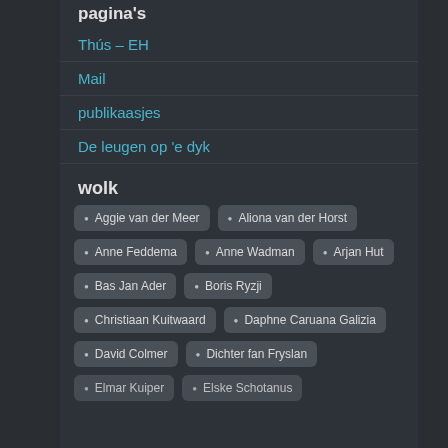pagina's
Thús – EH
Mail
publikaasjes
De leugen op 'e dyk
wolk
Aggie van der Meer
Aliona van der Horst
Anne Feddema
Anne Wadman
Arjan Hut
Bas Jan Ader
Boris Ryzji
Christiaan Kuitwaard
Daphne Caruana Galizia
David Colmer
Dichter fan Fryslan
Elmar Kuiper
Elske Schotanus